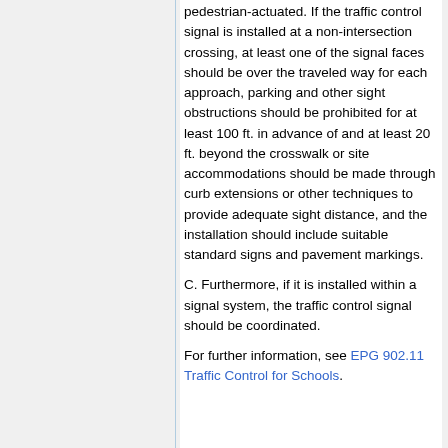pedestrian-actuated. If the traffic control signal is installed at a non-intersection crossing, at least one of the signal faces should be over the traveled way for each approach, parking and other sight obstructions should be prohibited for at least 100 ft. in advance of and at least 20 ft. beyond the crosswalk or site accommodations should be made through curb extensions or other techniques to provide adequate sight distance, and the installation should include suitable standard signs and pavement markings.
C. Furthermore, if it is installed within a signal system, the traffic control signal should be coordinated.
For further information, see EPG 902.11 Traffic Control for Schools.